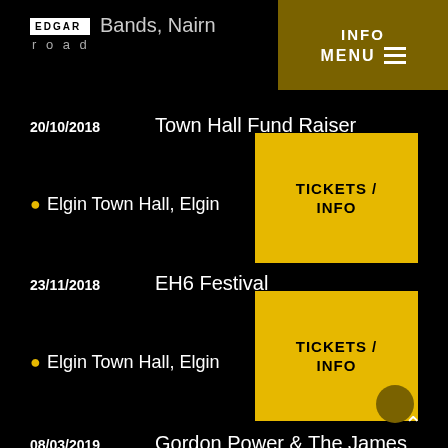Edgar Road | Bands, Nairn | INFO | MENU
20/10/2018 — Town Hall Fund Raiser — Elgin Town Hall, Elgin — TICKETS / INFO
23/11/2018 — EH6 Festival — Elgin Town Hall, Elgin — TICKETS / INFO
08/03/2019 — Gordon Power & The James — Ironworks, Inverness — TICKETS /